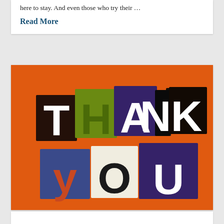here to stay.  And even those who try their …
Read More
[Figure (photo): A 'THANK YOU' message assembled from cut-out letters in different colors and styles on an orange background. The letters T, H, A, N, K spell the first word on top and Y, O, U spell the second word on the bottom.]